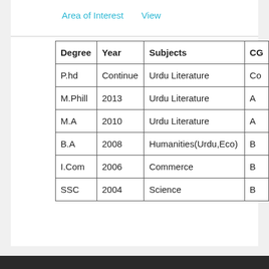Area of Interest   View
| Degree | Year | Subjects | CG |
| --- | --- | --- | --- |
| P.hd | Continue | Urdu Literature | Co |
| M.Phill | 2013 | Urdu Literature | A |
| M.A | 2010 | Urdu Literature | A |
| B.A | 2008 | Humanities(Urdu,Eco) | B |
| I.Com | 2006 | Commerce | B |
| SSC | 2004 | Science | B |